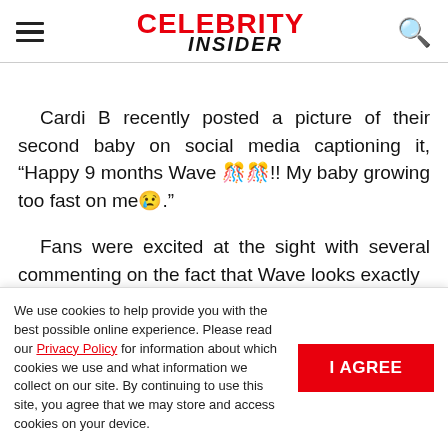CELEBRITY INSIDER
Cardi B recently posted a picture of their second baby on social media captioning it, “Happy 9 months Wave 🌊🌊!! My baby growing too fast on me😢.”
Fans were excited at the sight with several commenting on the fact that Wave looks exactly
We use cookies to help provide you with the best possible online experience. Please read our Privacy Policy for information about which cookies we use and what information we collect on our site. By continuing to use this site, you agree that we may store and access cookies on your device.